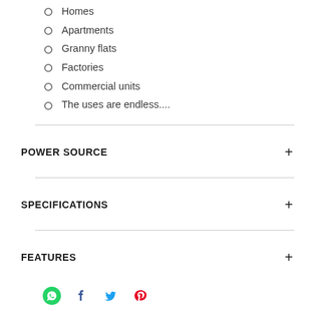Homes
Apartments
Granny flats
Factories
Commercial units
The uses are endless....
POWER SOURCE
SPECIFICATIONS
FEATURES